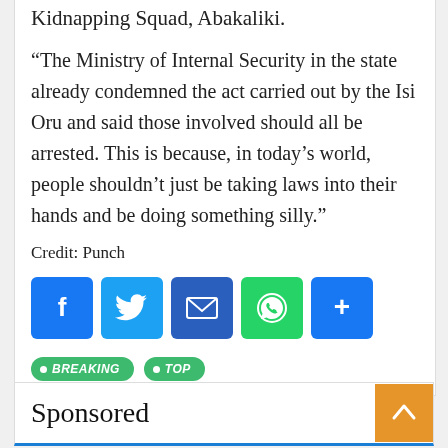Kidnapping Squad, Abakaliki.
“The Ministry of Internal Security in the state already condemned the act carried out by the Isi Oru and said those involved should all be arrested. This is because, in today’s world, people shouldn’t just be taking laws into their hands and be doing something silly.”
Credit: Punch
[Figure (infographic): Social sharing buttons: Facebook (blue), Twitter (light blue), Email (dark blue), WhatsApp (green), Share (blue)]
• BREAKING • TOP
Sponsored